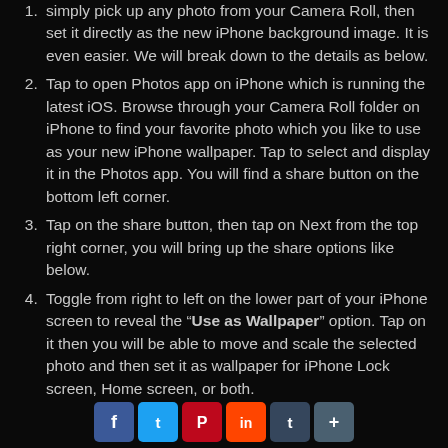simply pick up any photo from your Camera Roll, then set it directly as the new iPhone background image. It is even easier. We will break down to the details as below.
Tap to open Photos app on iPhone which is running the latest iOS. Browse through your Camera Roll folder on iPhone to find your favorite photo which you like to use as your new iPhone wallpaper. Tap to select and display it in the Photos app. You will find a share button on the bottom left corner.
Tap on the share button, then tap on Next from the top right corner, you will bring up the share options like below.
Toggle from right to left on the lower part of your iPhone screen to reveal the "Use as Wallpaper" option. Tap on it then you will be able to move and scale the selected photo and then set it as wallpaper for iPhone Lock screen, Home screen, or both.
[Figure (infographic): Social media sharing buttons: Facebook, Twitter, Pinterest, Reddit, Tumblr, Share]